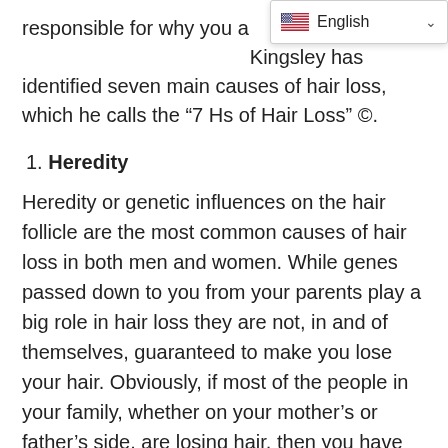responsible for why you a… Kingsley has identified seven main causes of hair loss, which he calls the “7 Hs of Hair Loss” ©.
1. Heredity
Heredity or genetic influences on the hair follicle are the most common causes of hair loss in both men and women. While genes passed down to you from your parents play a big role in hair loss they are not, in and of themselves, guaranteed to make you lose your hair. Obviously, if most of the people in your family, whether on your mother’s or father’s side, are losing hair, then you have an increased chance of also losing hair. That said, some scientific evidence suggests that about 20 percent of people exhibiting genetic hair loss don’t have any known family